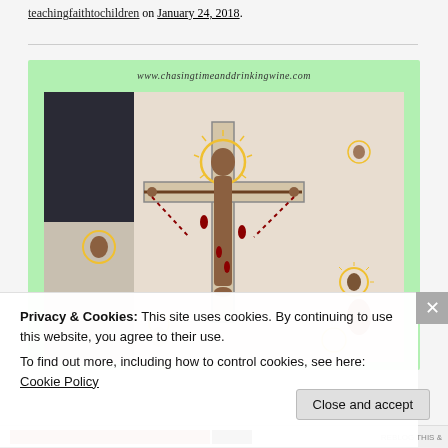teachingfaithtochildren on January 24, 2018.
[Figure (photo): Child's drawing of the crucifixion of Jesus on a cross, with figures and halos, watermarked with www.chasingtimeanddrinkingwine.com, displayed on a light green background.]
Privacy & Cookies: This site uses cookies. By continuing to use this website, you agree to their use.
To find out more, including how to control cookies, see here: Cookie Policy
Close and accept